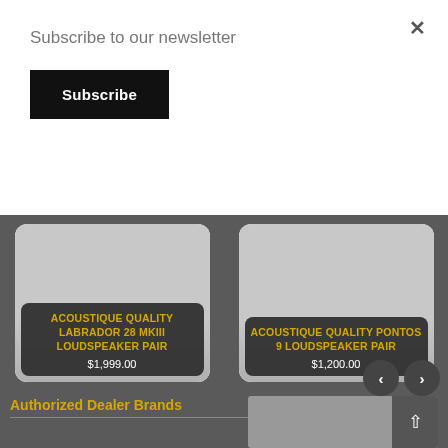Subscribe to our newsletter
Subscribe
×
[Figure (screenshot): Product card for Acoustique Quality Labrador 28 MKIII Loudspeaker Pair priced at $1,999.00, dark overlay with yellow title text on gray product image]
[Figure (screenshot): Product card for Acoustique Quality Pontos 9 Loudspeaker Pair priced at $1,200.00, dark overlay with yellow title text on gray product image]
Authorized Dealer Brands